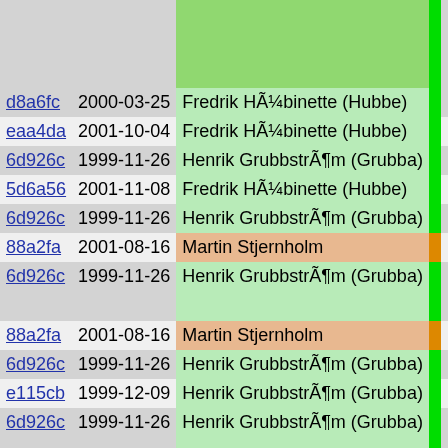| hash | date | author | bar | rest |
| --- | --- | --- | --- | --- |
|  |  |  |  |  |
| d8a6fc | 2000-03-25 | Fredrik HÃ¼binette (Hubbe) |  |  |
| eaa4da | 2001-10-04 | Fredrik HÃ¼binette (Hubbe) |  |  |
| 6d926c | 1999-11-26 | Henrik GrubbstrÃ¶m (Grubba) |  |  |
| 5d6a56 | 2001-11-08 | Fredrik HÃ¼binette (Hubbe) |  |  |
| 6d926c | 1999-11-26 | Henrik GrubbstrÃ¶m (Grubba) |  |  |
| 88a2fa | 2001-08-16 | Martin Stjernholm |  |  |
| 6d926c | 1999-11-26 | Henrik GrubbstrÃ¶m (Grubba) |  |  |
|  |  |  |  |  |
| 88a2fa | 2001-08-16 | Martin Stjernholm |  |  |
| 6d926c | 1999-11-26 | Henrik GrubbstrÃ¶m (Grubba) |  |  |
| e115cb | 1999-12-09 | Henrik GrubbstrÃ¶m (Grubba) |  |  |
| 6d926c | 1999-11-26 | Henrik GrubbstrÃ¶m (Grubba) |  |  |
|  |  |  |  |  |